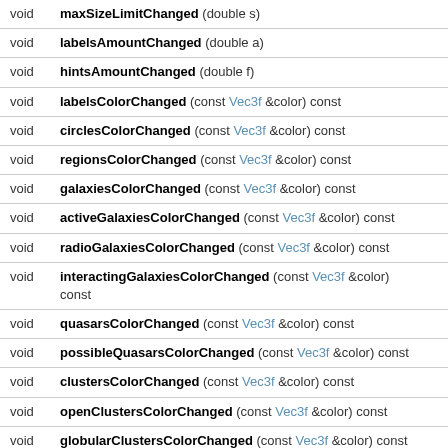| Return | Signature |
| --- | --- |
| void | maxSizeLimitChanged (double s) |
| void | labelsAmountChanged (double a) |
| void | hintsAmountChanged (double f) |
| void | labelsColorChanged (const Vec3f &color) const |
| void | circlesColorChanged (const Vec3f &color) const |
| void | regionsColorChanged (const Vec3f &color) const |
| void | galaxiesColorChanged (const Vec3f &color) const |
| void | activeGalaxiesColorChanged (const Vec3f &color) const |
| void | radioGalaxiesColorChanged (const Vec3f &color) const |
| void | interactingGalaxiesColorChanged (const Vec3f &color) const |
| void | quasarsColorChanged (const Vec3f &color) const |
| void | possibleQuasarsColorChanged (const Vec3f &color) const |
| void | clustersColorChanged (const Vec3f &color) const |
| void | openClustersColorChanged (const Vec3f &color) const |
| void | globularClustersColorChanged (const Vec3f &color) const |
| void | stellarAssociationsColorChanged (const Vec3f &color) const |